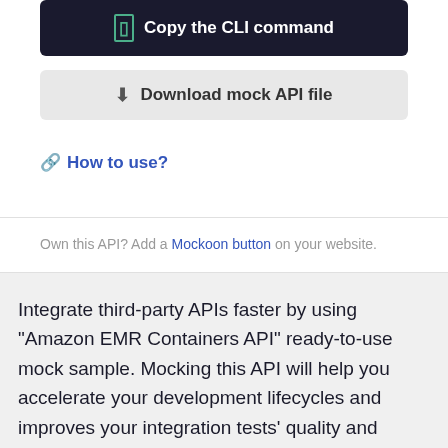[Figure (screenshot): Dark button with copy icon: 'Copy the CLI command']
[Figure (screenshot): Light gray button with download icon: 'Download mock API file']
🔗 How to use?
Own this API? Add a Mockoon button on your website.
Integrate third-party APIs faster by using "Amazon EMR Containers API" ready-to-use mock sample. Mocking this API will help you accelerate your development lifecycles and improves your integration tests' quality and reliability by accounting for random failures, slow response time, etc.
It also helps reduce your dependency on third-party APIs: no more accounts to create, API keys to